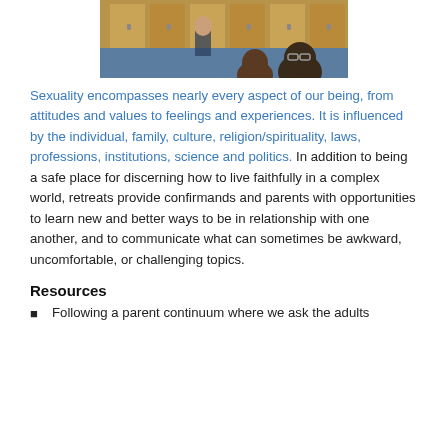[Figure (photo): Photo of students and instructor in a classroom setting, viewed from behind, with wooden cabinetry and blue flooring visible.]
Sexuality encompasses nearly every aspect of our being, from attitudes and values to feelings and experiences. It is influenced by the individual, family, culture, religion/spirituality, laws, professions, institutions, science and politics. In addition to being a safe place for discerning how to live faithfully in a complex world, retreats provide confirmands and parents with opportunities to learn new and better ways to be in relationship with one another, and to communicate what can sometimes be awkward, uncomfortable, or challenging topics.
Resources
Following a parent continuum where we ask the adults